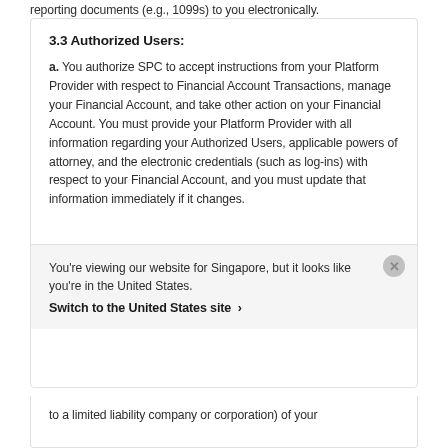reporting documents (e.g., 1099s) to you electronically.
3.3 Authorized Users:
a. You authorize SPC to accept instructions from your Platform Provider with respect to Financial Account Transactions, manage your Financial Account, and take other action on your Financial Account. You must provide your Platform Provider with all information regarding your Authorized Users, applicable powers of attorney, and the electronic credentials (such as log-ins) with respect to your Financial Account, and you must update that information immediately if it changes.
You're viewing our website for Singapore, but it looks like you're in the United States.
Switch to the United States site ›
to a limited liability company or corporation) of your